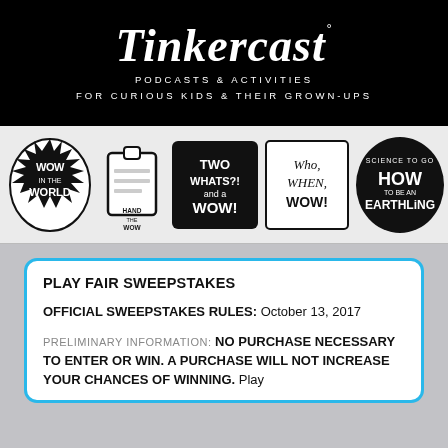Tinkercast
PODCASTS & ACTIVITIES
FOR CURIOUS KIDS & THEIR GROWN-UPS
[Figure (logo): Row of Tinkercast podcast show logos including Wow in the World, Hand the Wow, Two Whats and a Wow, Who When Wow, How to be an Earthling, and another partially visible logo]
PLAY FAIR SWEEPSTAKES
OFFICIAL SWEEPSTAKES RULES: October 13, 2017
PRELIMINARY INFORMATION: NO PURCHASE NECESSARY TO ENTER OR WIN. A PURCHASE WILL NOT INCREASE YOUR CHANCES OF WINNING. Play